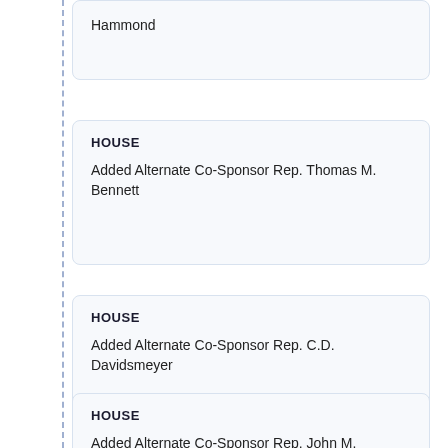Hammond
HOUSE
Added Alternate Co-Sponsor Rep. Thomas M. Bennett
HOUSE
Added Alternate Co-Sponsor Rep. C.D. Davidsmeyer
HOUSE
Added Alternate Co-Sponsor Rep. John M. Scholl